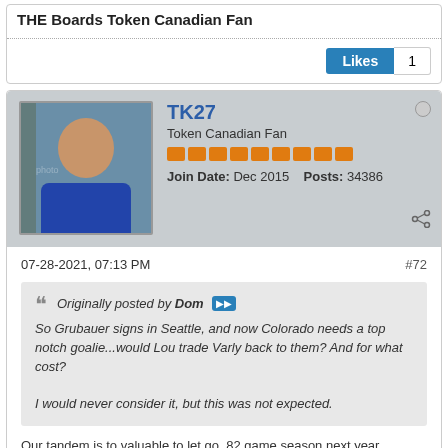THE Boards Token Canadian Fan
Likes 1
TK27
Token Canadian Fan
Join Date: Dec 2015   Posts: 34386
07-28-2021, 07:13 PM
#72
Originally posted by Dom
So Grubauer signs in Seattle, and now Colorado needs a top notch goalie...would Lou trade Varly back to them? And for what cost?

I would never consider it, but this was not expected.
Our tandem is to valuable to let go. 82 game season next year
THE Boards Token Canadian Fan